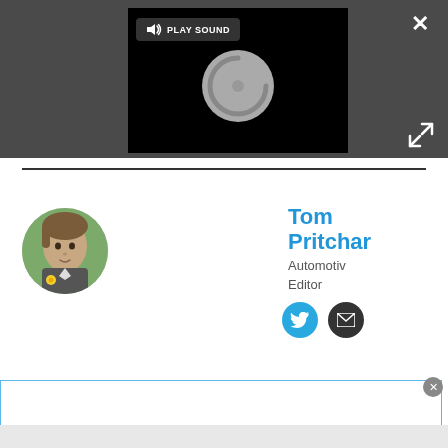[Figure (screenshot): Dark UI toolbar with a video player showing a loading spinner and a 'PLAY SOUND' button. Close (×) and expand icons are visible on the right.]
[Figure (photo): Circular profile photo of Tom Pritchard, a young man wearing a suit with a yellow flower buttonhole.]
Tom Pritchard
Automotive Editor
[Figure (illustration): Twitter and email social media icon buttons (blue circle and black circle).]
[Figure (screenshot): Bottom overlay panel with a blue border and a close (x) button in the top-right corner, and a gray footer strip.]